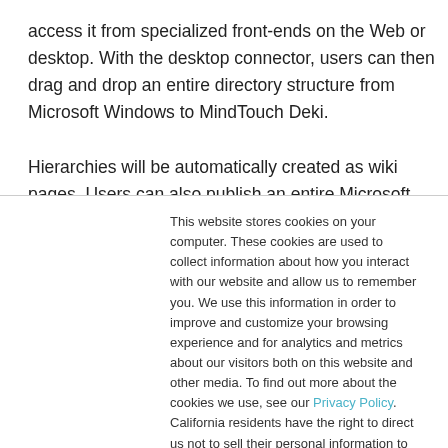access it from specialized front-ends on the Web or desktop. With the desktop connector, users can then drag and drop an entire directory structure from Microsoft Windows to MindTouch Deki.

Hierarchies will be automatically created as wiki pages. Users can also publish an entire Microsoft Outlook e-mail thread —
This website stores cookies on your computer. These cookies are used to collect information about how you interact with our website and allow us to remember you. We use this information in order to improve and customize your browsing experience and for analytics and metrics about our visitors both on this website and other media. To find out more about the cookies we use, see our Privacy Policy. California residents have the right to direct us not to sell their personal information to third parties by filing an Opt-Out Request: Do Not Sell My Personal Info.
Accept